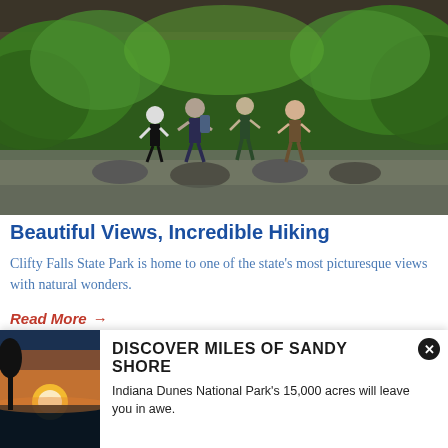[Figure (photo): Four hikers stepping across mossy stones in a creek under a concrete bridge, surrounded by lush green foliage]
Beautiful Views, Incredible Hiking
Clifty Falls State Park is home to one of the state's most picturesque views with natural wonders.
Read More →
[Figure (photo): Outdoor scenic nature photo with FEATURED label overlay, showing rocky green landscape]
[Figure (photo): Sunset over sandy beach with glowing orange sky, thumbnail image in popup card]
DISCOVER MILES OF SANDY SHORE
Indiana Dunes National Park's 15,000 acres will leave you in awe.